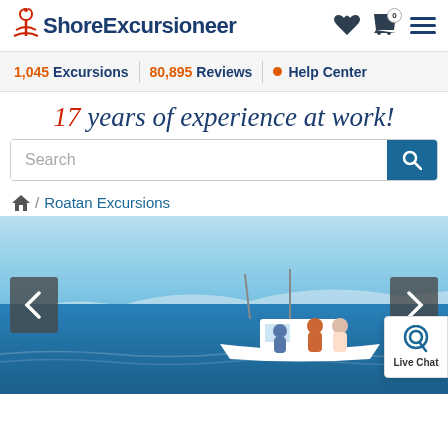ShoreExcursioneer
1,045 Excursions | 80,895 Reviews | Help Center
17 years of experience at work!
Search
Home / Roatan Excursions
[Figure (photo): Hero image showing a boat with people on blue ocean water with mountains and sky in background, with left and right navigation arrows and a Live Chat widget]